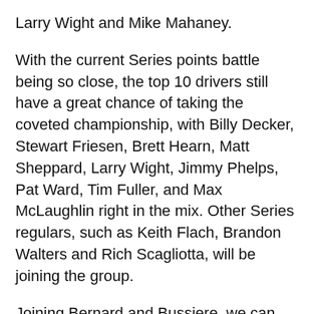Larry Wight and Mike Mahaney.
With the current Series points battle being so close, the top 10 drivers still have a great chance of taking the coveted championship, with Billy Decker, Stewart Friesen, Brett Hearn, Matt Sheppard, Larry Wight, Jimmy Phelps, Pat Ward, Tim Fuller, and Max McLaughlin right in the mix. Other Series regulars, such as Keith Flach, Brandon Walters and Rich Scagliotta, will be joining the group.
Joining Bernard and Bussiere, we can expect to see several local runners with Big-Block power plants in their racing machines, among them David Hebert, JF Corriveau and Steve Bernier .
Last season a solid field of 41 cars filled up the pits, and we can expect similar figures for the 100-lap event this